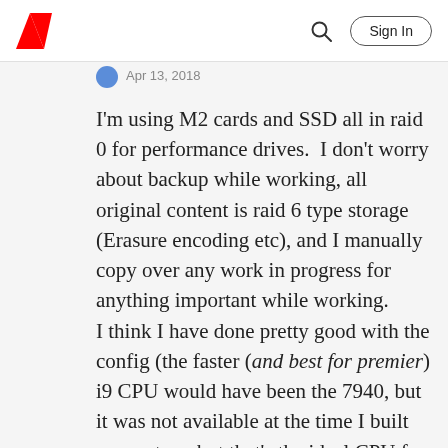Adobe | Sign In
Apr 13, 2018
I'm using M2 cards and SSD all in raid 0 for performance drives.  I don't worry about backup while working, all original content is raid 6 type storage (Erasure encoding etc), and I manually copy over any work in progress for anything important while working. I think I have done pretty good with the config (the faster (and best for premier) i9 CPU would have been the 7940, but it was not available at the time I built my system, but that's the ideal CPU for Premier (ignoring costs